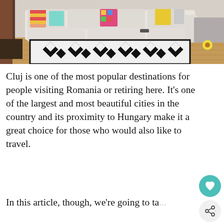[Figure (photo): Interior photo of a modern living room with a white L-shaped sofa, colorful decorative pillows, a bold black-and-white geometric patterned area rug on a wood floor, and a yellow flower visible at the right edge.]
Cluj is one of the most popular destinations for people visiting Romania or retiring here. It’s one of the largest and most beautiful cities in the country and its proximity to Hungary make it a great choice for those who would also like to travel.
In this article, though, we’re going to ta... about those of you who are planning...